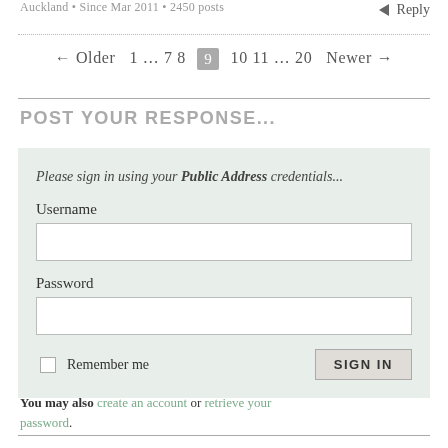Auckland • Since Mar 2011 • 2450 posts
Reply
← Older 1 … 7 8 9 10 11 … 20 Newer →
POST YOUR RESPONSE...
Please sign in using your Public Address credentials...
Username
Password
Remember me   SIGN IN
You may also create an account or retrieve your password.